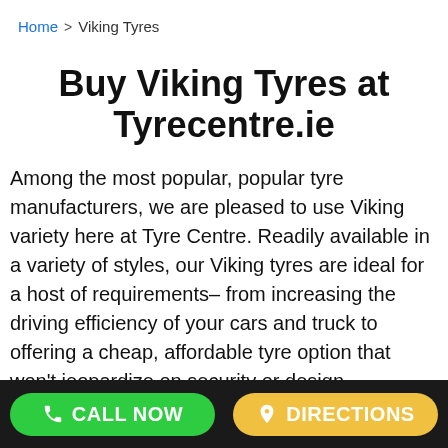Home > Viking Tyres
Buy Viking Tyres at Tyrecentre.ie
Among the most popular, popular tyre manufacturers, we are pleased to use Viking variety here at Tyre Centre. Readily available in a variety of styles, our Viking tyres are ideal for a host of requirements– from increasing the driving efficiency of your cars and truck to offering a cheap, affordable tyre option that won't jeopardize on security or design.
CALL NOW | DIRECTIONS